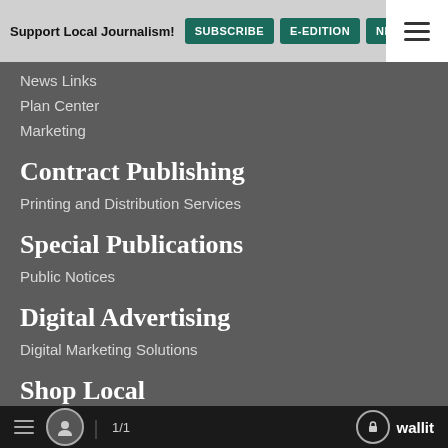Support Local Journalism! SUBSCRIBE E-EDITION NEWSLET
News Links
Plan Center
Marketing
Contract Publishing
Printing and Distribution Services
Special Publications
Public Notices
Digital Advertising
Digital Marketing Solutions
Shop Local
Weekly Ads
This Week's Circulars
1/1  wallit